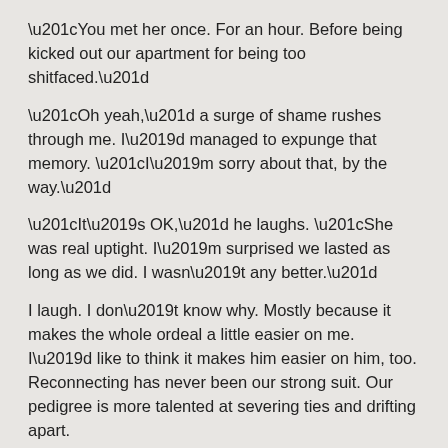“You met her once. For an hour. Before being kicked out our apartment for being too shitfaced.”
“Oh yeah,” a surge of shame rushes through me. I’d managed to expunge that memory. “I’m sorry about that, by the way.”
“It’s OK,” he laughs. “She was real uptight. I’m surprised we lasted as long as we did. I wasn’t any better.”
I laugh. I don’t know why. Mostly because it makes the whole ordeal a little easier on me. I’d like to think it makes him easier on him, too. Reconnecting has never been our strong suit. Our pedigree is more talented at severing ties and drifting apart.
“So who’s your Baby Mama?” I ask.
“Sherrel. You haven’t met her.”